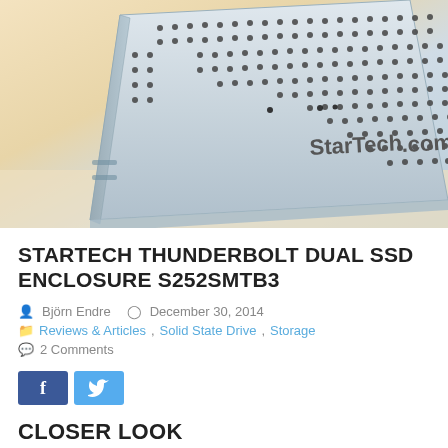[Figure (photo): Close-up photo of a StarTech.com Thunderbolt Dual SSD Enclosure device, showing a silver/white metal enclosure with dot-pattern ventilation holes, the StarTech.com logo visible on the front, sitting on a light surface.]
STARTECH THUNDERBOLT DUAL SSD ENCLOSURE S252SMTB3
Björn Endre   December 30, 2014
Reviews & Articles, Solid State Drive, Storage
2 Comments
[Figure (other): Facebook and Twitter social share buttons]
CLOSER LOOK